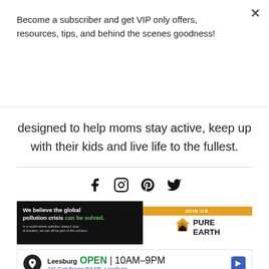Become a subscriber and get VIP only offers, resources, tips, and behind the scenes goodness!
Subscribe
designed to help moms stay active, keep up with their kids and live life to the fullest.
[Figure (infographic): Social media icons: Facebook, Instagram, Pinterest, Twitter]
[Figure (infographic): Pure Earth advertisement: We believe the global pollution crisis can be solved. JOIN US. Pure Earth logo.]
[Figure (infographic): Google Maps style ad: Leesburg OPEN 10AM-9PM, 241 Fort Evans Rd NE, Leesburg]